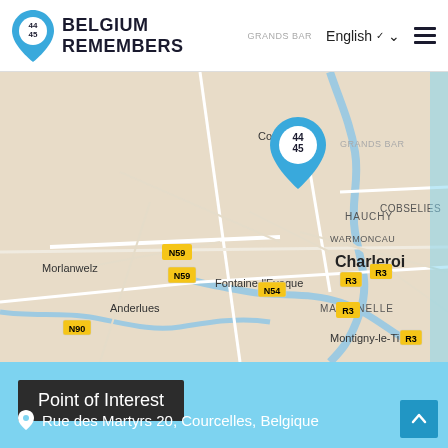BELGIUM REMEMBERS — English — Navigation menu
[Figure (map): Street map centered on Courcelles, Belgium showing surrounding towns: Morlanwelz, Anderlues, Fontaine-l'Eveque, Charleroi, Hauchy, Warmoncau, Marcinelle, Montigny-le-Tilleul. A blue location pin with '44 45' is placed at Courcelles. Road labels: N59, R3, E420, N90, N54, R3, R3.]
Point of Interest
Rue des Martyrs 20, Courcelles, Belgique